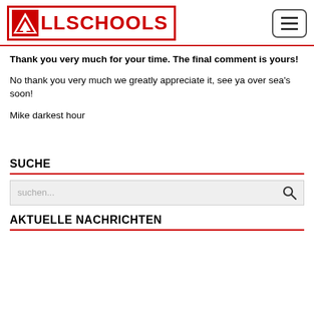[Figure (logo): AllSchools logo with red border, red triangle/arrow icon and bold red ALLSCHOOLS text]
Thank you very much for your time. The final comment is yours!
No thank you very much we greatly appreciate it, see ya over sea's soon!
Mike darkest hour
SUCHE
suchen...
AKTUELLE NACHRICHTEN